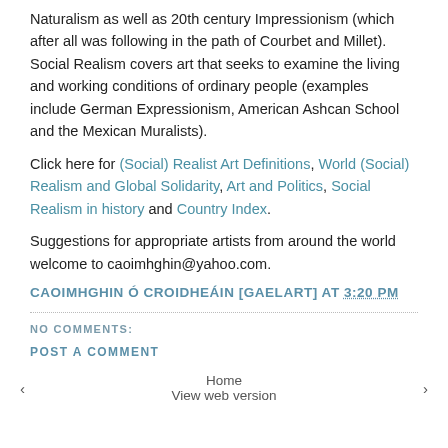Naturalism as well as 20th century Impressionism (which after all was following in the path of Courbet and Millet). Social Realism covers art that seeks to examine the living and working conditions of ordinary people (examples include German Expressionism, American Ashcan School and the Mexican Muralists).
Click here for (Social) Realist Art Definitions, World (Social) Realism and Global Solidarity, Art and Politics, Social Realism in history and Country Index.
Suggestions for appropriate artists from around the world welcome to caoimhghin@yahoo.com.
CAOIMHGHIN Ó CROIDHEÁIN [GAELART] AT 3:20 PM
NO COMMENTS:
POST A COMMENT
‹  Home  View web version  ›